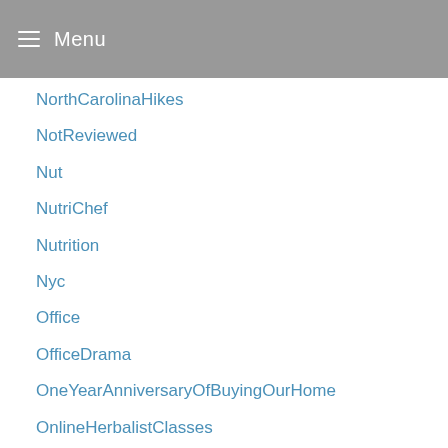Menu
NorthCarolinaHikes
NotReviewed
Nut
NutriChef
Nutrition
Nyc
Office
OfficeDrama
OneYearAnniversaryOfBuyingOurHome
OnlineHerbalistClasses
OrganicCompounds
Organization
OrganizerDeinstallieren
OrganizerKostenlosDownloadDeutsch
OROPY
OurHome
OurHomeImprovements